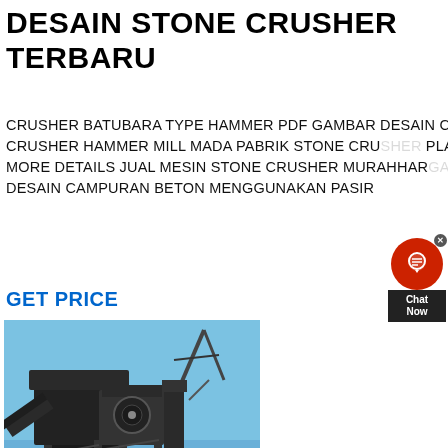DESAIN STONE CRUSHER TERBARU
CRUSHER BATUBARA TYPE HAMMER PDF GAMBAR DESAIN CRUSHER PLASTIK DETAIL DESIGN JAW CRUSHER HAMMER MILL MADA PABRIK STONE CRUSHER PLANT IN RA JUAL MESIN CRUSHER DAERAH MORE DETAILS JUAL MESIN STONE CRUSHER MURAHHARGA TERBARU 2019 BELI . DAPATKAN HARGA; DESAIN CAMPURAN BETON MENGGUNAKAN PASIR
GET PRICE
[Figure (photo): Photograph of a stone crusher plant installation with dark metal machinery, conveyor belts, and crane against a blue sky, with workers visible in the foreground on sandy ground.]